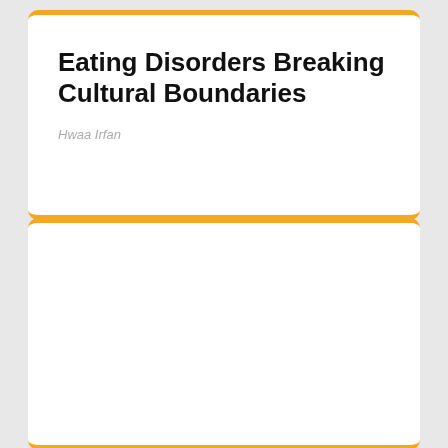Eating Disorders Breaking Cultural Boundaries
Hwaa Irfan
[Figure (other): Empty white card panel below the title card]